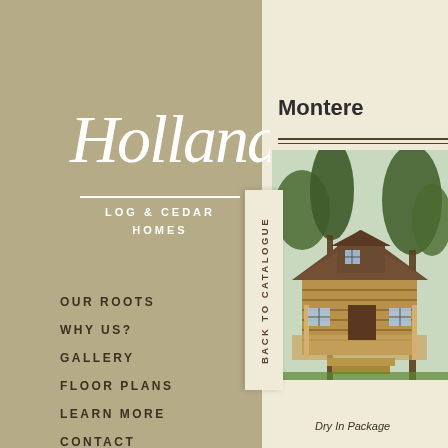[Figure (logo): Holland Log & Cedar Homes script logo with cursive text and subtitle]
BACK TO CATALOGUE
OUR ROOTS
WHY US?
GALLERY
FLOOR PLANS
LEARN MORE
CONTACT
CAREERS
Montere
[Figure (illustration): Illustrated rendering of a log cabin home surrounded by trees]
Dry In Package